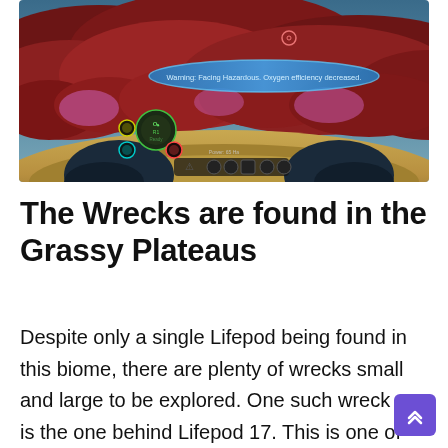[Figure (screenshot): A No Man's Sky video game screenshot showing a first-person view of a red alien landscape with HUD elements including oxygen warning, health indicators, and navigation icons at the bottom. A message reads 'Warning: Facing Hazardous Oxygen efficiency decreased.']
The Wrecks are found in the Grassy Plateaus
Despite only a single Lifepod being found in this biome, there are plenty of wrecks small and large to be explored. One such wreck is the one behind Lifepod 17. This is one of the most important wrecks in the entire game. In total